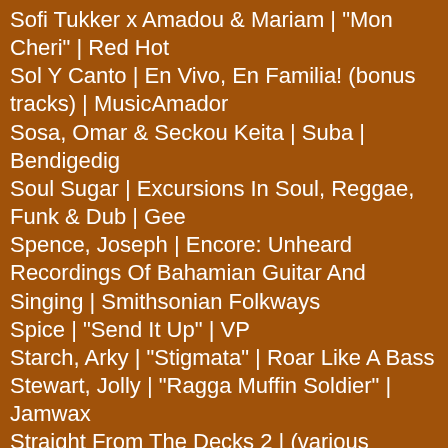Sofi Tukker x Amadou & Mariam | "Mon Cheri" | Red Hot
Sol Y Canto | En Vivo, En Familia! (bonus tracks) | MusicAmador
Sosa, Omar & Seckou Keita | Suba | Bendigedig
Soul Sugar | Excursions In Soul, Reggae, Funk & Dub | Gee
Spence, Joseph | Encore: Unheard Recordings Of Bahamian Guitar And Singing | Smithsonian Folkways
Spice | "Send It Up" | VP
Starch, Arky | "Stigmata" | Roar Like A Bass
Stewart, Jolly | "Ragga Muffin Soldier" | Jamwax
Straight From The Decks 2 | (various artists) | Pura Vida Sounds / Heavenly Sweetness
Supersonicos, Los | "Introduccion" | El Palmas
Tangueros Del Oeste, Los | Alma Vieja | Avantango
Timba MM | Outstanding | Naxos World
TriXstar | Dear 2020 | Boomrush Productions
Turbulence | "Jamaica Holiday" | Reggae Vibes
Tuyo | Chegamos Sozinhos Em Casa | self-released
Twin Palms | "Tranquilo" (feat Kat Dahlia & Demarco) | Nacional
UCee | "Kick It Score It" | Good Call
U-Roy | Solid Gold U-Roy | Trojan Jamaica / BMG